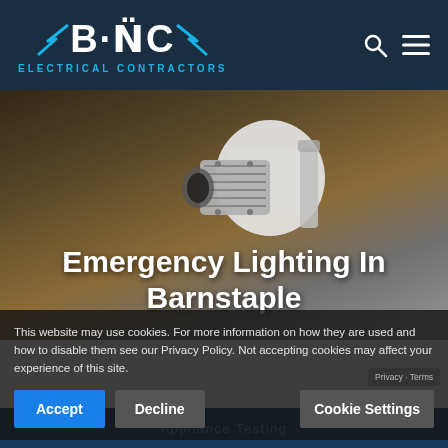[Figure (logo): BNC Electrical Contractors logo with lightning bolt accents and blue text on dark navy header]
[Figure (photo): Close-up photo of an emergency lighting spotlight fixture, metallic silver and white, mounted on a bracket against a warm brown/orange background]
Emergency Lighting In Barnstaple
This website may use cookies. For more information on how they are used and how to disable them see our Privacy Policy. Not accepting cookies may affect your experience of this site.
Accept
Decline
Cookie Settings
Appliance Testing